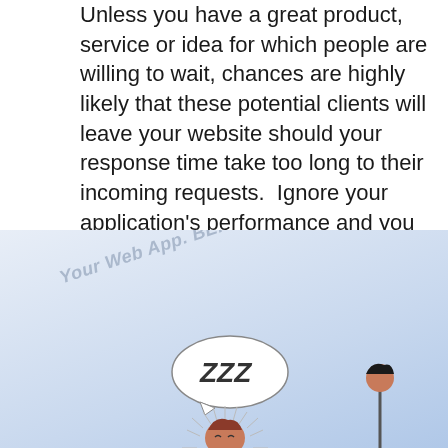Unless you have a great product, service or idea for which people are willing to wait, chances are highly likely that these potential clients will leave your website should your response time take too long to their incoming requests.  Ignore your application's performance and you are more likely to be dumped by your users sooner than expected.
[Figure (illustration): Illustration area with diagonal text 'Your Web App. BEFORE & AFTER Performance O...' on a light blue gradient background, with a cartoon of a person sleeping (ZZZ speech bubble) at a desk, and partial view of another figure on the right.]